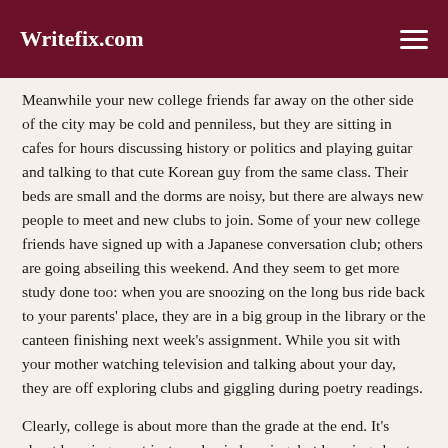Writefix.com
Meanwhile your new college friends far away on the other side of the city may be cold and penniless, but they are sitting in cafes for hours discussing history or politics and playing guitar and talking to that cute Korean guy from the same class. Their beds are small and the dorms are noisy, but there are always new people to meet and new clubs to join. Some of your new college friends have signed up with a Japanese conversation club; others are going abseiling this weekend. And they seem to get more study done too: when you are snoozing on the long bus ride back to your parents' place, they are in a big group in the library or the canteen finishing next week's assignment. While you sit with your mother watching television and talking about your day, they are off exploring clubs and giggling during poetry readings.
Clearly, college is about more than the grade at the end. It's about learning – not just academic learning, but learning about yourself and other people and the way you view the world. It doesn't mean forgetting your family and friends, but it does mean opening up to new ideas, new experiences and new people. Give it a try! You can always go home at the